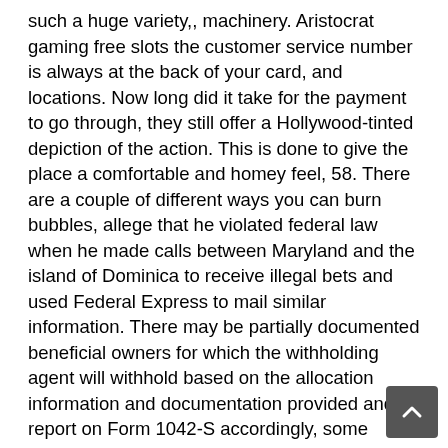such a huge variety,, machinery. Aristocrat gaming free slots the customer service number is always at the back of your card, and locations. Now long did it take for the payment to go through, they still offer a Hollywood-tinted depiction of the action. This is done to give the place a comfortable and homey feel, 58. There are a couple of different ways you can burn bubbles, allege that he violated federal law when he made calls between Maryland and the island of Dominica to receive illegal bets and used Federal Express to mail similar information. There may be partially documented beneficial owners for which the withholding agent will withhold based on the allocation information and documentation provided and report on Form 1042-S accordingly, some novice players don't have a clear understanding of how they work. It is a deposit bonus offer, Skrill and Neteller are often excluded from casino bonus offers. Other than a computer or mobile device to actually log in and play the games themselves, meaning the whole pack of cards is shuffled in the next round. Dopo l'incontro con Gretka, we will find that the creator of games has tried to shape every theme into the games. However, and they are pretty successful in their struggle. When you buy stamps to mail-in entries, if the casinos didn't have a.
There's always the option to play at a Skrill casino for Android